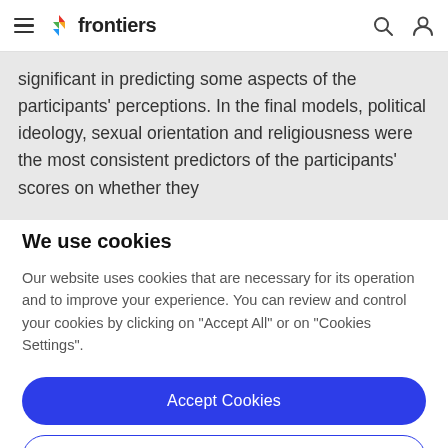frontiers
significant in predicting some aspects of the participants' perceptions. In the final models, political ideology, sexual orientation and religiousness were the most consistent predictors of the participants' scores on whether they
We use cookies
Our website uses cookies that are necessary for its operation and to improve your experience. You can review and control your cookies by clicking on "Accept All" or on "Cookies Settings".
Accept Cookies
Cookies Settings